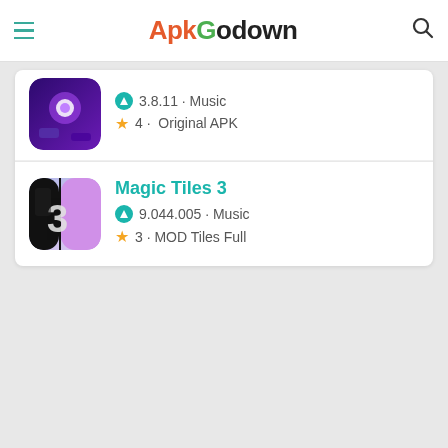ApkGodown
[Figure (screenshot): Partial app card showing a music tiles game app icon (purple/dark with glowing orbs), partially visible at top of content box]
3.8.11 · Music
4 · Original APK
Magic Tiles 3
9.044.005 · Music
3 · MOD Tiles Full